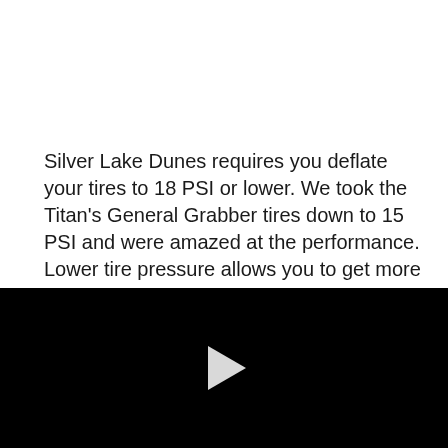Silver Lake Dunes requires you deflate your tires to 18 PSI or lower. We took the Titan's General Grabber tires down to 15 PSI and were amazed at the performance. Lower tire pressure allows you to get more contact and better grip.
[Figure (other): Black video player panel with a white play button triangle centered in it]